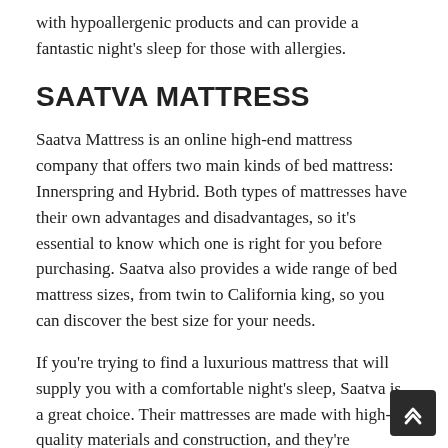with hypoallergenic products and can provide a fantastic night's sleep for those with allergies.
SAATVA MATTRESS
Saatva Mattress is an online high-end mattress company that offers two main kinds of bed mattress: Innerspring and Hybrid. Both types of mattresses have their own advantages and disadvantages, so it's essential to know which one is right for you before purchasing. Saatva also provides a wide range of bed mattress sizes, from twin to California king, so you can discover the best size for your needs.
If you're trying to find a luxurious mattress that will supply you with a comfortable night's sleep, Saatva is a great choice. Their mattresses are made with high-quality materials and construction, and they're